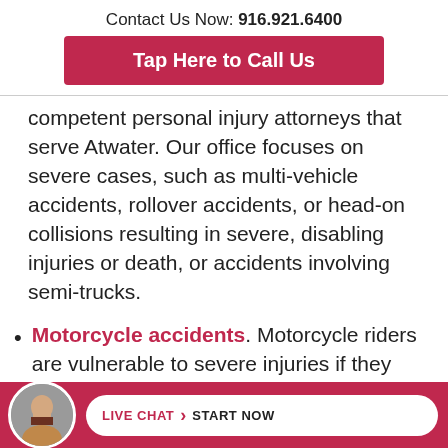Contact Us Now: 916.921.6400
Tap Here to Call Us
competent personal injury attorneys that serve Atwater. Our office focuses on severe cases, such as multi-vehicle accidents, rollover accidents, or head-on collisions resulting in severe, disabling injuries or death, or accidents involving semi-trucks.
Motorcycle accidents. Motorcycle riders are vulnerable to severe injuries if they collide with other vehicles because of the
LIVE CHAT › START NOW